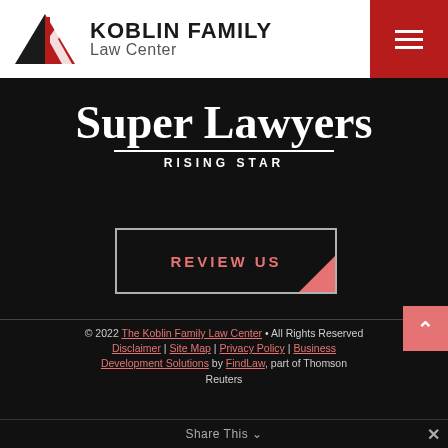[Figure (logo): Koblin Family Law Center logo with geometric K mark in black and red]
KOBLIN FAMILY Law Center
[Figure (logo): Super Lawyers Rising Star badge on black background]
REVIEW US
© 2022 The Koblin Family Law Center • All Rights Reserved
Disclaimer | Site Map | Privacy Policy | Business Development Solutions by FindLaw, part of Thomson Reuters
Share This
Reuters